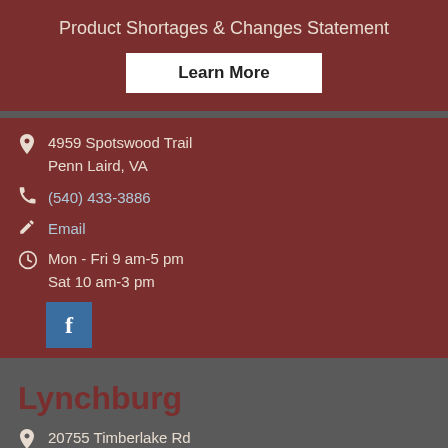Product Shortages & Changes Statement
Learn More
4959 Spotswood Trail Penn Laird, VA
(540) 433-3886
Email
Mon - Fri 9 am-5 pm Sat 10 am-3 pm
[Figure (logo): Facebook social media icon button (blue square with white 'f')]
Lynchburg
20755 Timberlake Rd Lynchburg, VA
(434) 237-1210
Email
Mon, Tues, Thurs, Fri 10 am-5 pm